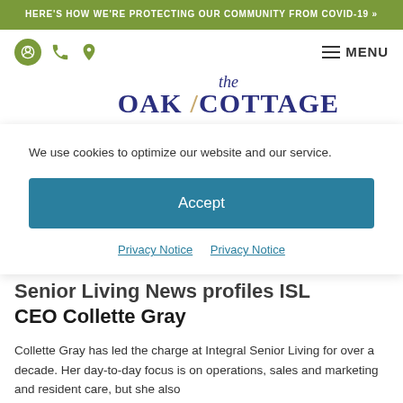HERE'S HOW WE'RE PROTECTING OUR COMMUNITY FROM COVID-19 »
[Figure (logo): The Oak Cottage logo with accessibility, phone, and location icons and a hamburger MENU button]
We use cookies to optimize our website and our service.
Accept
Privacy Notice   Privacy Notice
Senior Living News profiles ISL CEO Collette Gray
Collette Gray has led the charge at Integral Senior Living for over a decade. Her day-to-day focus is on operations, sales and marketing and resident care, but she also